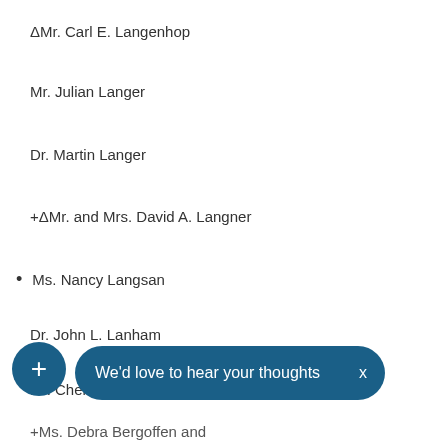ΔMr. Carl E. Langenhop
Mr. Julian Langer
Dr. Martin Langer
+ΔMr. and Mrs. David A. Langner
Ms. Nancy Langsan
Dr. John L. Lanham
Mr. Cheldon O. Lanier, Jr.
+Ms. Debra Bergoffen and